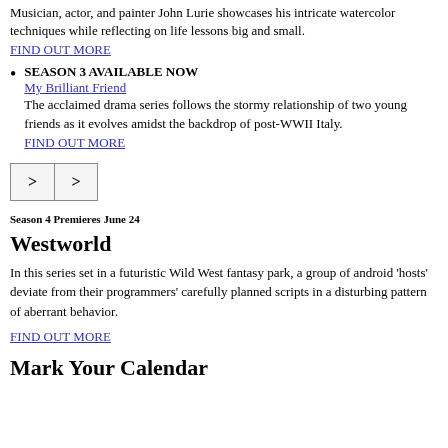Musician, actor, and painter John Lurie showcases his intricate watercolor techniques while reflecting on life lessons big and small.
FIND OUT MORE
SEASON 3 AVAILABLE NOW
My Brilliant Friend
The acclaimed drama series follows the stormy relationship of two young friends as it evolves amidst the backdrop of post-WWII Italy.
FIND OUT MORE
[Figure (other): Navigation buttons with right-arrow symbols]
Season 4 Premieres June 24
Westworld
In this series set in a futuristic Wild West fantasy park, a group of android 'hosts' deviate from their programmers' carefully planned scripts in a disturbing pattern of aberrant behavior.
FIND OUT MORE
Mark Your Calendar